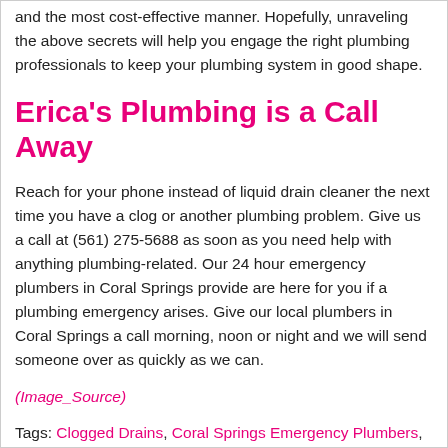and the most cost-effective manner. Hopefully, unraveling the above secrets will help you engage the right plumbing professionals to keep your plumbing system in good shape.
Erica's Plumbing is a Call Away
Reach for your phone instead of liquid drain cleaner the next time you have a clog or another plumbing problem. Give us a call at (561) 275-5688 as soon as you need help with anything plumbing-related. Our 24 hour emergency plumbers in Coral Springs provide are here for you if a plumbing emergency arises. Give our local plumbers in Coral Springs a call morning, noon or night and we will send someone over as quickly as we can.
(Image_Source)
Tags: Clogged Drains, Coral Springs Emergency Plumbers, Drain Cleaners, Plumbing in Coral Springs